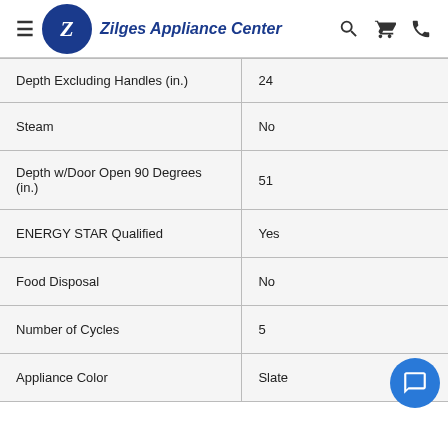Zilges Appliance Center
| Specification | Value |
| --- | --- |
| Depth Excluding Handles (in.) | 24 |
| Steam | No |
| Depth w/Door Open 90 Degrees (in.) | 51 |
| ENERGY STAR Qualified | Yes |
| Food Disposal | No |
| Number of Cycles | 5 |
| Appliance Color | Slate |